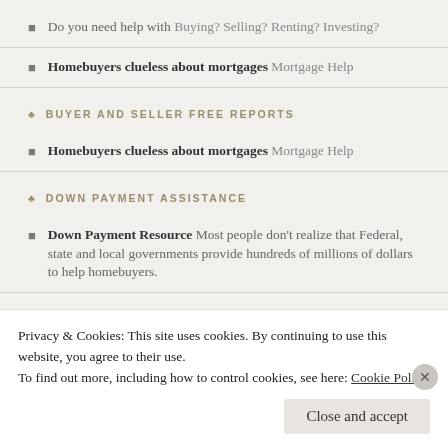Do you need help with Buying? Selling? Renting? Investing?
Homebuyers clueless about mortgages Mortgage Help
BUYER AND SELLER FREE REPORTS
Homebuyers clueless about mortgages Mortgage Help
DOWN PAYMENT ASSISTANCE
Down Payment Resource Most people don't realize that Federal, state and local governments provide hundreds of millions of dollars to help homebuyers.
FREQUENTLY ASKED QUESTIONS
Buying Rental Property Vs. Investing in an REIT Buying a rental property and investing in a REIT are two things that have both their advantages and
Privacy & Cookies: This site uses cookies. By continuing to use this website, you agree to their use.
To find out more, including how to control cookies, see here: Cookie Policy
Close and accept